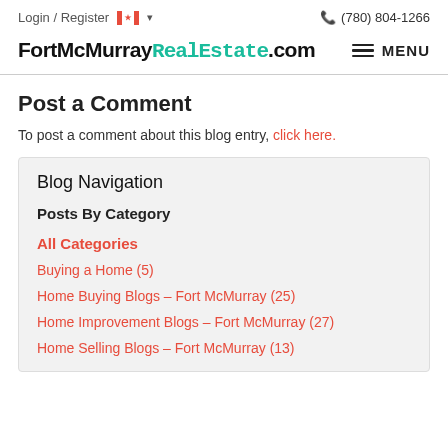Login / Register  (780) 804-1266
[Figure (logo): FortMcMurrayRealEstate.com logo with black bold text and teal stylized text, alongside hamburger menu icon and MENU text]
Post a Comment
To post a comment about this blog entry, click here.
Blog Navigation
Posts By Category
All Categories
Buying a Home (5)
Home Buying Blogs – Fort McMurray (25)
Home Improvement Blogs – Fort McMurray (27)
Home Selling Blogs – Fort McMurray (13)